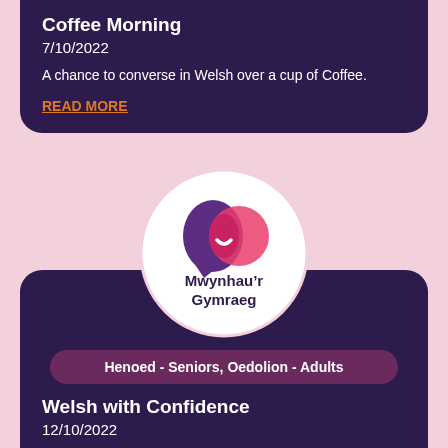Coffee Morning
7/10/2022
A chance to converse in Welsh over a cup of Coffee.
READ MORE
[Figure (logo): Mwynhau'r Gymraeg logo — circular white background with overlapping purple speech bubble and pink/red circle graphic, text reads Mwynhau'r Gymraeg]
Henoed - Seniors, Oedolion - Adults
Welsh with Confidence
12/10/2022
Welsh conversation session for individuals with